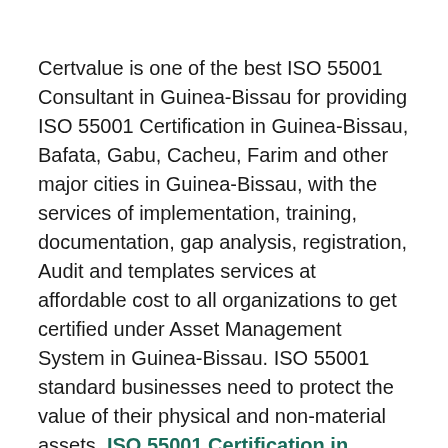Certvalue is one of the best ISO 55001 Consultant in Guinea-Bissau for providing ISO 55001 Certification in Guinea-Bissau, Bafata, Gabu, Cacheu, Farim and other major cities in Guinea-Bissau, with the services of implementation, training, documentation, gap analysis, registration, Audit and templates services at affordable cost to all organizations to get certified under Asset Management System in Guinea-Bissau. ISO 55001 standard businesses need to protect the value of their physical and non-material assets. ISO 55001 Certification in Guinea-Bissau is an Asset Management System, your organization can lower costs, maximize return on investment (ROI) and optimize growth throughout the asset life cycle.